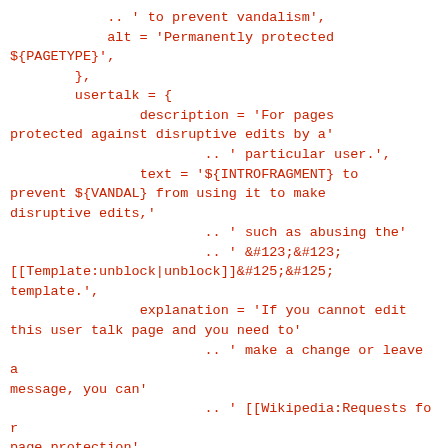.. ' to prevent vandalism',
            alt = 'Permanently protected
${PAGETYPE}',
        },
        usertalk = {
                description = 'For pages
protected against disruptive edits by a'
                        .. ' particular user.',
                text = '${INTROFRAGMENT} to
prevent ${VANDAL} from using it to make
disruptive edits,'
                        .. ' such as abusing the'
                        .. ' &#123;&#123;
[[Template:unblock|unblock]]&#125;&#125;
template.',
                explanation = 'If you cannot edit
this user talk page and you need to'
                        .. ' make a change or leave a
message, you can'
                        .. ' [[Wikipedia:Requests for
page protection'
                        .. '#Current requests for
edits to a protected page'
                        .. '|request an edit]],'
                        .. ' [[Wikipedia:Requests for